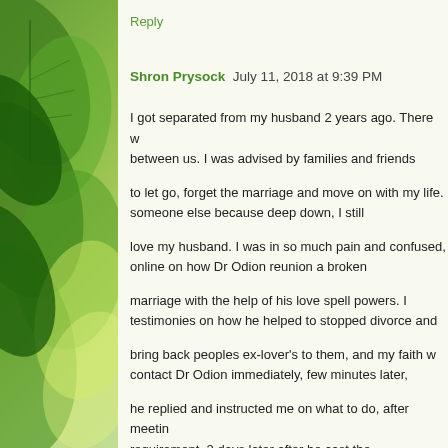Reply
Shron Prysock  July 11, 2018 at 9:39 PM
I got separated from my husband 2 years ago. There w between us. I was advised by families and friends to let go, forget the marriage and move on with my life. someone else because deep down, I still love my husband. I was in so much pain and confused, online on how Dr Odion reunion a broken marriage with the help of his love spell powers. I testimonies on how he helped to stopped divorce and bring back peoples ex-lover's to them, and my faith w contact Dr Odion immediately, few minutes later, he replied and instructed me on what to do, after meeting requirement, 2 days later after he cast the